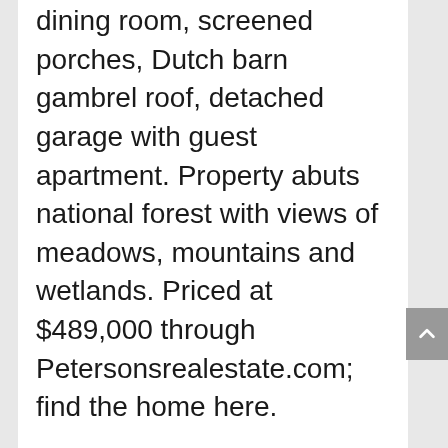dining room, screened porches, Dutch barn gambrel roof, detached garage with guest apartment. Property abuts national forest with views of meadows, mountains and wetlands. Priced at $489,000 through Petersonsrealestate.com; find the home here.
POLL DU JOUR
• 63 percent of Americans like elected officials who compromise; 58 percent of Republicans 66 percent of independents and 70 percent of Democrats agree.